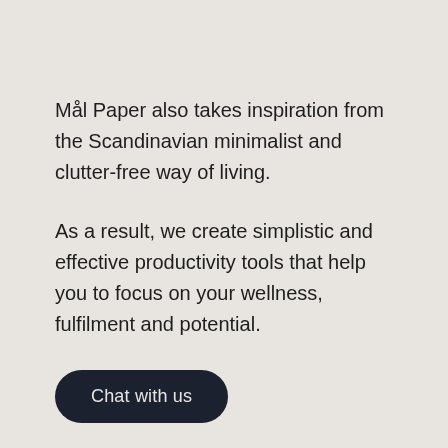Mål Paper also takes inspiration from the Scandinavian minimalist and clutter-free way of living.
As a result, we create simplistic and effective productivity tools that help you to focus on your wellness, fulfilment and potential.
Chat with us